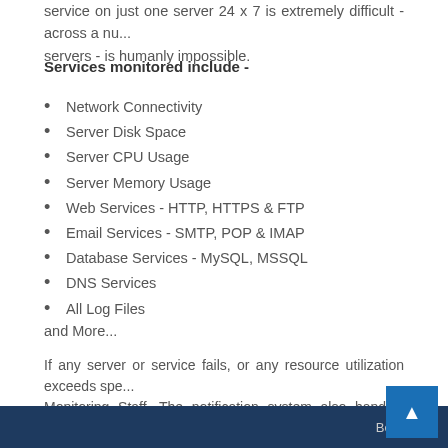service on just one server 24 x 7 is extremely difficult - across a number of servers - is humanly impossible.
Services monitored include -
Network Connectivity
Server Disk Space
Server CPU Usage
Server Memory Usage
Web Services - HTTP, HTTPS & FTP
Email Services - SMTP, POP & IMAP
Database Services - MySQL, MSSQL
DNS Services
All Log Files
and More...
If any server or service fails, or any resource utilization exceeds specified thresholds, an alert is sent to our Monitoring Staff. The notification system also handles escalation of issues, initially to system administrators, and subsequently to Management.
All of this allows us to detect and resolve any issue within minutes of it
Be the first